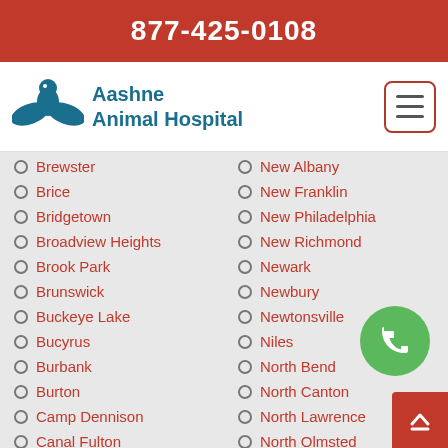877-425-0108
[Figure (logo): Aashne Animal Hospital logo with teal bird/hand graphic and text]
Brewster
New Albany
Brice
New Franklin
Bridgetown
New Philadelphia
Broadview Heights
New Richmond
Brook Park
Newark
Brunswick
Newbury
Buckeye Lake
Newtonsville
Bucyrus
Niles
Burbank
North Bend
Burton
North Canton
Camp Dennison
North Lawrence
Canal Fulton
North Olmsted